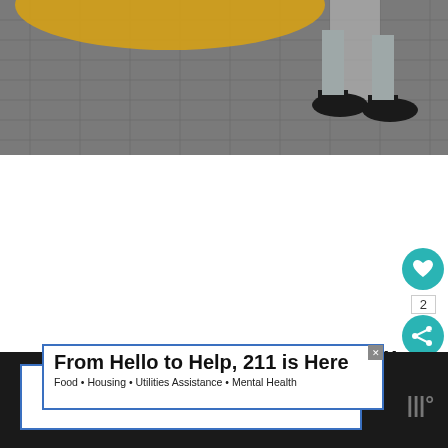[Figure (photo): Partial photo showing a person's legs and feet in black shoes standing on a cobblestone surface, with a large yellow/orange object (likely a Gouda cheese wheel) partially visible at the top left.]
Gouda cheese is a mild, yellow cheese that originated from the Netherlands. It made from cow's milk.
[Figure (other): What's Next panel showing a thumbnail of blue cheese with label 'WHAT'S NEXT' and text 'What Does Blue Cheese...']
[Figure (other): Advertisement banner reading 'From Hello to Help, 211 is Here' with subtitle 'Food • Housing • Utilities Assistance • Mental Health']